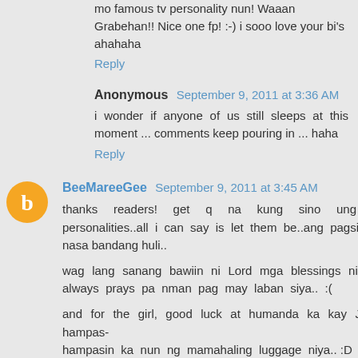mo famous tv personality nun! Waaan Grabehan!! Nice one fp! :-) i sooo love your bi's ahahaha
Reply
Anonymous  September 9, 2011 at 3:36 AM
i wonder if anyone of us still sleeps at this moment ... comments keep pouring in ... haha
Reply
BeeMareeGee  September 9, 2011 at 3:45 AM
thanks readers! get q na kung sino ung mga personalities..all i can say is let them be..ang pagsisisi ay nasa bandang huli..
wag lang sanang bawiin ni Lord mga blessings ni bf..he always prays pa nman pag may laban siya.. :(
and for the girl, good luck at humanda ka kay J baka hampas-hampasin ka nun ng mamahaling luggage niya.. :D